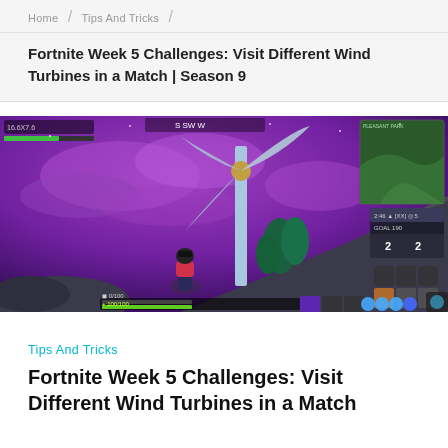Home / Tips And Tricks /
Fortnite Week 5 Challenges: Visit Different Wind Turbines in a Match | Season 9
[Figure (screenshot): Fortnite gameplay screenshot showing a character near a large wind turbine against a purple night sky. HUD elements visible including minimap, health bar, inventory items, and score display showing GOAL 190 with values 2 and 2.]
Tips And Tricks
Fortnite Week 5 Challenges: Visit Different Wind Turbines in a Match